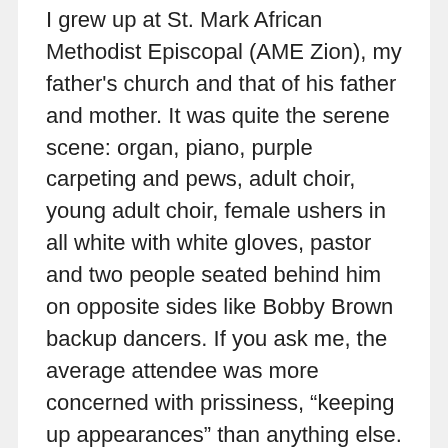I grew up at St. Mark African Methodist Episcopal (AME Zion), my father's church and that of his father and mother. It was quite the serene scene: organ, piano, purple carpeting and pews, adult choir, young adult choir, female ushers in all white with white gloves, pastor and two people seated behind him on opposite sides like Bobby Brown backup dancers. If you ask me, the average attendee was more concerned with prissiness, “keeping up appearances” than anything else. This was particularly evident in those who appeared to catch The Holy Ghost; always jubilantly, but brief and reserved enough to keep their church hats from coming off – and they never left their seat.
Prior to their marriage, my mother attended a